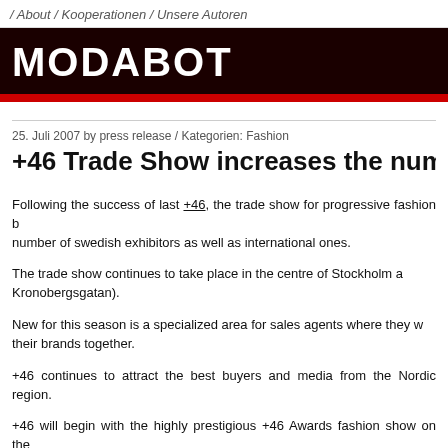/ About / Kooperationen / Unsere Autoren
[Figure (logo): MODABOT logo in white bold text on dark brown/black background with red bar below]
25. Juli 2007 by press release / Kategorien: Fashion
+46 Trade Show increases the number of exh
Following the success of last +46, the trade show for progressive fashion b... number of swedish exhibitors as well as international ones. The trade show continues to take place in the centre of Stockholm a... Kronobergsgatan). New for this season is a specialized area for sales agents where they w... their brands together. +46 continues to attract the best buyers and media from the Nordic region. +46 will begin with the highly prestigious +46 Awards fashion show on the ... The danish fashion designer Nikoline Liv Andersen is the winner of th... showcase her collection in the evening. Throughout the 16th-18th August there will be additional catwalk shows... Örjan from Weekdays will premiere his new brand Qoniak in Sweden an... their first ever show in Stockholm. There are also shows from Ulrika Sandström, Pimpinette, Ladies & Gentle...